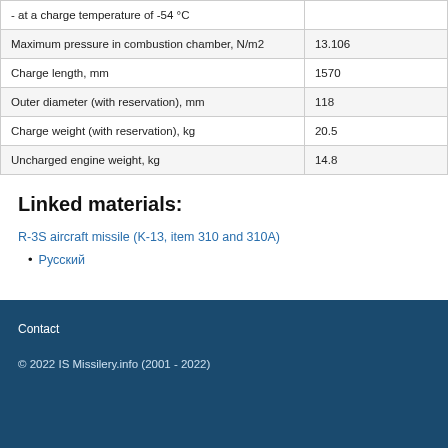| Parameter | Value |
| --- | --- |
| - at a charge temperature of -54 °C |  |
| Maximum pressure in combustion chamber, N/m2 | 13.106 |
| Charge length, mm | 1570 |
| Outer diameter (with reservation), mm | 118 |
| Charge weight (with reservation), kg | 20.5 |
| Uncharged engine weight, kg | 14.8 |
Linked materials:
R-3S aircraft missile (K-13, item 310 and 310A)
Русский
Contact
© 2022 IS Missilery.info (2001 - 2022)